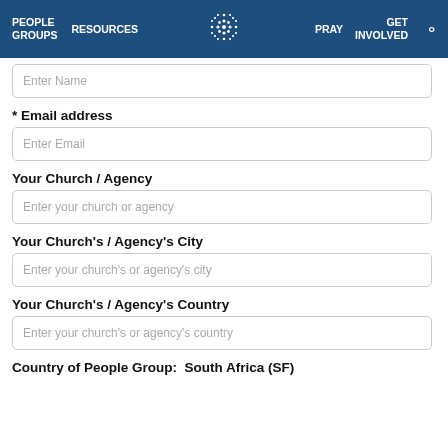PEOPLE GROUPS   RESOURCES   [logo]   PRAY   GET INVOLVED   [search]
Enter Name
* Email address
Enter Email
Your Church / Agency
Enter your church or agency
Your Church's / Agency's City
Enter your church's or agency's city
Your Church's / Agency's Country
Enter your church's or agency's country
Country of People Group:  South Africa (SF)